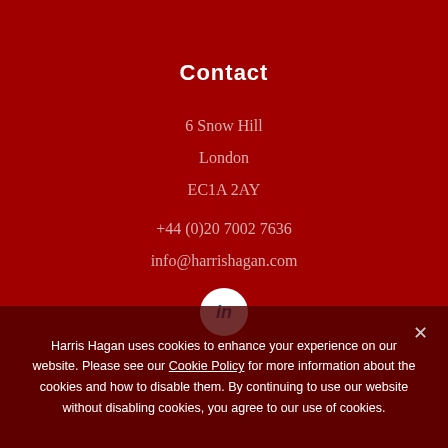Contact
6 Snow Hill
London
EC1A 2AY
+44 (0)20 7002 7636
info@harrishagan.com
[Figure (logo): LinkedIn circular button with 'in' text in blue on white background]
Harris Hagan uses cookies to enhance your experience on our website. Please see our Cookie Policy for more information about the cookies and how to disable them. By continuing to use our website without disabling cookies, you agree to our use of cookies.